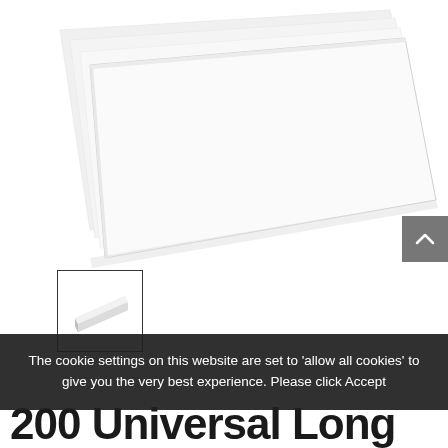[Figure (photo): A stack of white paper sheets fanned out, photographed from above at an angle, showing the edges of multiple sheets against a white background.]
[Figure (photo): Small thumbnail image of a white rectangular block or stack of paper, shown at an angle.]
The cookie settings on this website are set to 'allow all cookies' to give you the very best experience. Please click Accept
200 Universal Long